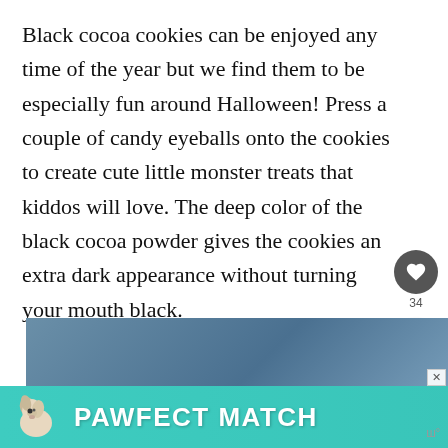Black cocoa cookies can be enjoyed any time of the year but we find them to be especially fun around Halloween! Press a couple of candy eyeballs onto the cookies to create cute little monster treats that kiddos will love. The deep color of the black cocoa powder gives the cookies an extra dark appearance without turning your mouth black.
[Figure (screenshot): Social widget with heart/like button showing count of 34 and a share button]
[Figure (screenshot): What's Next widget showing a small image of a jar and text: Sauce For Fried Rice]
[Figure (photo): Bottom advertisement area showing a partial photo of a person and a PAWFECT MATCH banner advertisement with a dog illustration on teal background]